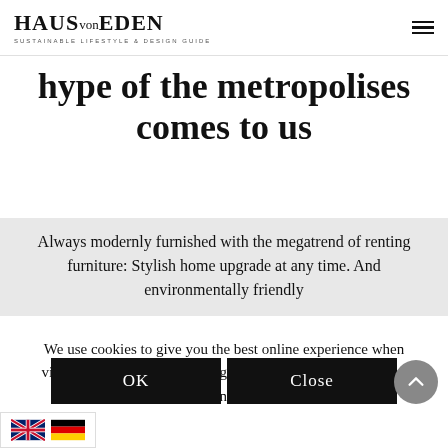HAUS von EDEN — SUSTAINABLE LIFESTYLE & DESIGN GUIDE
hype of the metropolises comes to us
Always modernly furnished with the megatrend of renting furniture: Stylish home upgrade at any time. And environmentally friendly
We use cookies to give you the best online experience when visiting our websites. By using our website, you agree. More information can be found in our Privacy Policy
OK
Close